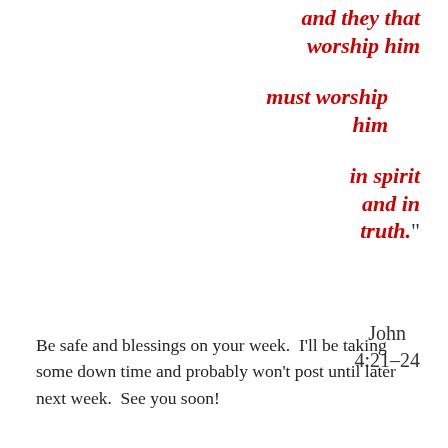and they that worship him must worship him in spirit and in truth." John 4:21–24
Be safe and blessings on your week.  I'll be taking some down time and probably won't post until later next week.  See you soon!